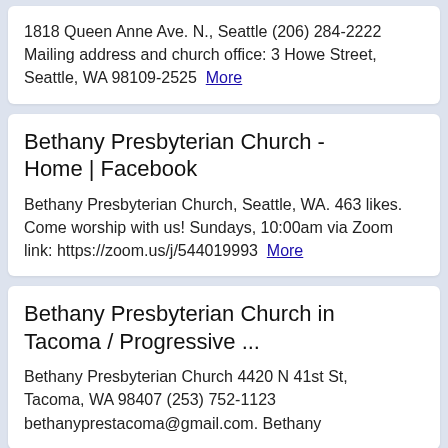1818 Queen Anne Ave. N., Seattle (206) 284-2222 Mailing address and church office: 3 Howe Street, Seattle, WA 98109-2525 More
Bethany Presbyterian Church - Home | Facebook
Bethany Presbyterian Church, Seattle, WA. 463 likes. Come worship with us! Sundays, 10:00am via Zoom link: https://zoom.us/j/544019993 More
Bethany Presbyterian Church in Tacoma / Progressive ...
Bethany Presbyterian Church 4420 N 41st St, Tacoma, WA 98407 (253) 752-1123 bethanyprestacoma@gmail.com. Bethany